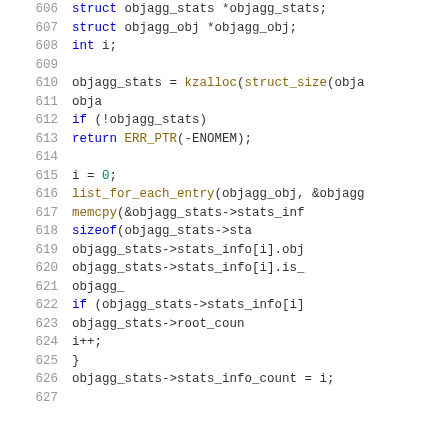[Figure (screenshot): Source code screenshot showing C code lines 606-626 with syntax highlighting. Line numbers in gray on the left, keywords in blue, function names in gold/brown, numbers in green.]